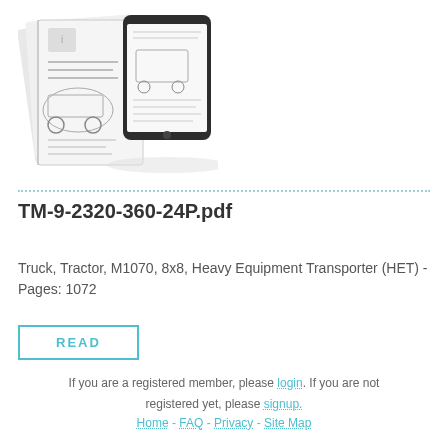[Figure (illustration): A military technical manual shown as a printed booklet fanned open alongside a tablet/e-reader device displaying the same manual cover, suggesting the document is available in digital format.]
TM-9-2320-360-24P.pdf
Truck, Tractor, M1070, 8x8, Heavy Equipment Transporter (HET) - Pages: 1072
READ
If you are a registered member, please login. If you are not registered yet, please signup.
Home - FAQ - Privacy - Site Map